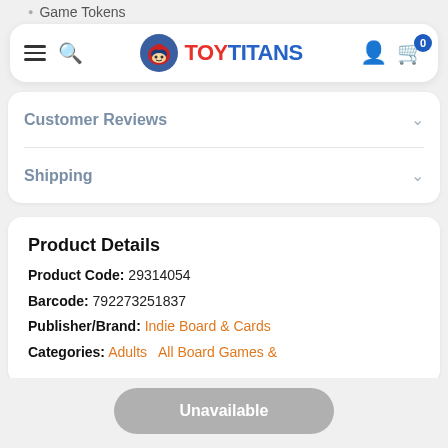Game Tokens (partial, cut off at top)
[Figure (logo): ToyTitans logo with mascot character wearing a helmet, search icon, hamburger menu, user icon, and cart icon with badge showing 0]
Customer Reviews
Shipping
Product Details
Product Code: 29314054
Barcode: 792273251837
Publisher/Brand: Indie Board & Cards
Categories: Adults  All Board Games & (cut off)
Unavailable